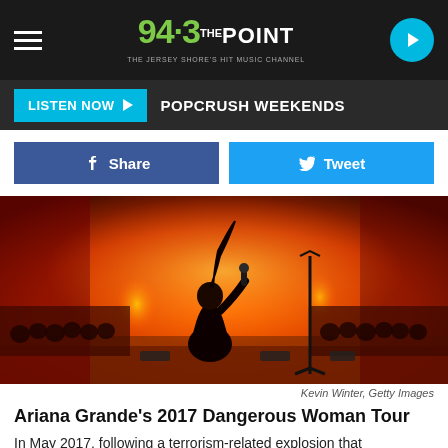94.3 THE POINT — THE JERSEY SHORE'S HIT MUSIC CHANNEL
LISTEN NOW ▶ POPCRUSH WEEKENDS
f Share   🐦 Tweet
[Figure (photo): Ariana Grande performing on stage during her 2017 Dangerous Woman Tour, kneeling on stage in a black outfit with a microphone, dramatic orange/red lighting and fire effects, large crowd in background]
Kevin Winter, Getty Images
Ariana Grande's 2017 Dangerous Woman Tour
In May 2017, following a terrorism-related explosion that